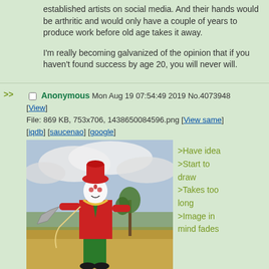established artists on social media. And their hands would be arthritic and would only have a couple of years to produce work before old age takes it away.
I'm really becoming galvanized of the opinion that if you haven't found success by age 20, you will never will.
>> Anonymous Mon Aug 19 07:54:49 2019 No.4073948 [View]
File: 869 KB, 753x706, 1438650084596.png [View same] [iqdb] [saucenao] [google]
[Figure (photo): A person dressed as a clown in red and green costume with white face paint, standing in a field near a small tree, holding what appears to be a metal funnel or horn on a rope. Outdoors with cloudy sky background.]
>Have idea
>Start to draw
>Takes too long
>Image in mind fades